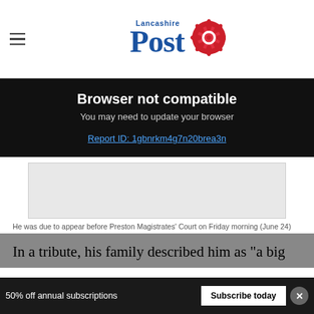Lancashire Post
Browser not compatible
You may need to update your browser
Report ID: 1gbnrkm4g7n20brea3n
[Figure (photo): Grey placeholder image area for article photo]
He was due to appear before Preston Magistrates' Court on Friday morning (June 24)
In a tribute, his family described him as "a big
50% off annual subscriptions   Subscribe today